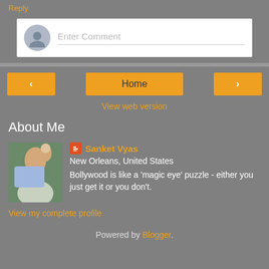Reply
[Figure (other): Comment input box with avatar silhouette and 'Enter Comment' placeholder text]
Home navigation bar with back arrow, Home button, and forward arrow
View web version
About Me
[Figure (photo): Profile photo of Sanket Vyas - man with child outdoors]
Sanket Vyas
New Orleans, United States
Bollywood is like a 'magic eye' puzzle - either you just get it or you don't.
View my complete profile
Powered by Blogger.